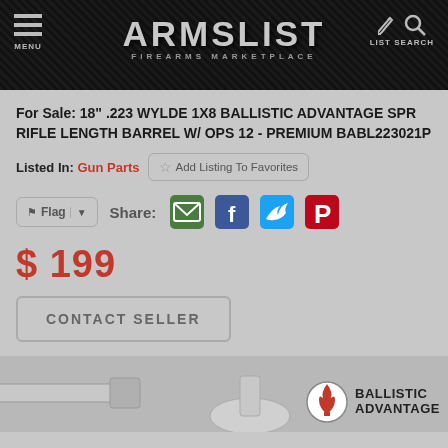ARMSLIST FIREARMS MARKETPLACE
For Sale: 18" .223 WYLDE 1X8 BALLISTIC ADVANTAGE SPR RIFLE LENGTH BARREL W/ OPS 12 - PREMIUM BABL223021P
Listed In: Gun Parts
Add Listing To Favorites
Flag | Share:
$ 199
CONTACT SELLER
[Figure (logo): Ballistic Advantage logo with circular emblem and flame/spade design]